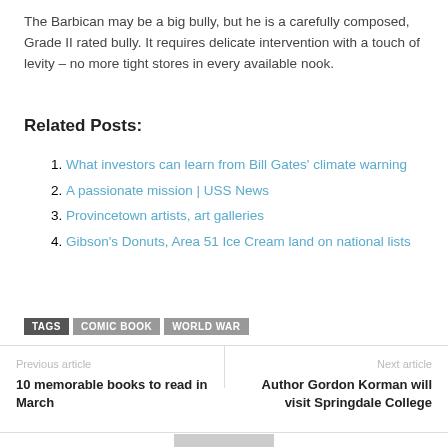The Barbican may be a big bully, but he is a carefully composed, Grade II rated bully. It requires delicate intervention with a touch of levity – no more tight stores in every available nook.
Related Posts:
What investors can learn from Bill Gates' climate warning
A passionate mission | USS News
Provincetown artists, art galleries
Gibson's Donuts, Area 51 Ice Cream land on national lists
TAGS  COMIC BOOK  WORLD WAR
Previous article
10 memorable books to read in March
Next article
Author Gordon Korman will visit Springdale College